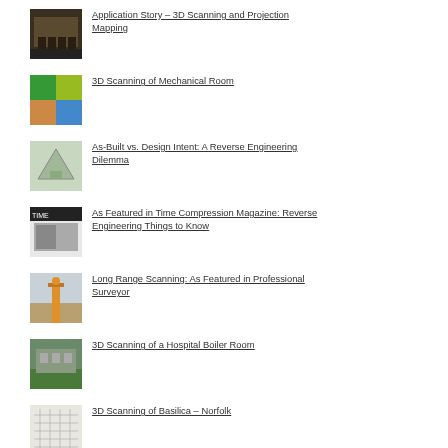Application Story – 3D Scanning and Projection Mapping
3D Scanning of Mechanical Room
As-Built vs. Design Intent: A Reverse Engineering Dilemma
As Featured in Time Compression Magazine: Reverse Engineering Things to Know
Long Range Scanning: As Featured in Professional Surveyor
3D Scanning of a Hospital Boiler Room
3D Scanning of Basilica – Norfolk